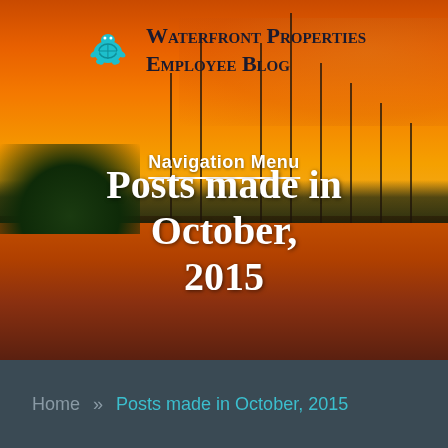[Figure (photo): Waterfront marina at sunset with vibrant orange sky, boats docked at slips, green trees on left, reflections on water]
Waterfront Properties Employee Blog
Navigation Menu
Posts made in October, 2015
Home » Posts made in October, 2015